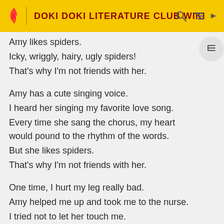DOKI DOKI LITERATURE CLUB WIKI
Amy likes spiders.
Icky, wriggly, hairy, ugly spiders!
That's why I'm not friends with her.
Amy has a cute singing voice.
I heard her singing my favorite love song.
Every time she sang the chorus, my heart would pound to the rhythm of the words.
But she likes spiders.
That's why I'm not friends with her.
One time, I hurt my leg really bad.
Amy helped me up and took me to the nurse.
I tried not to let her touch me.
She likes spiders, so her hands are probably gross.